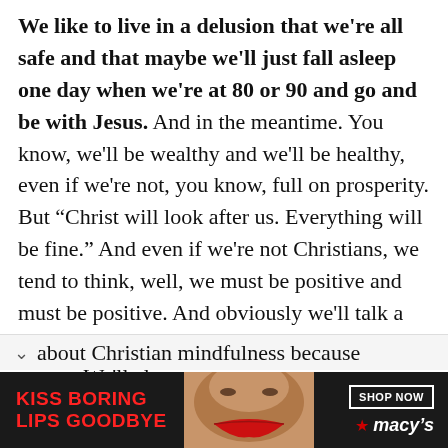We like to live in a delusion that we're all safe and that maybe we'll just fall asleep one day when we're at 80 or 90 and go and be with Jesus. And in the meantime. You know, we'll be wealthy and we'll be healthy, even if we're not, you know, full on prosperity. But “Christ will look after us. Everything will be fine.” And even if we're not Christians, we tend to think, well, we must be positive and must be positive. And obviously we'll talk a little bit about CBT because Richard’s a CBT expert. We'll also about Christian mindfulness because
[Figure (photo): Advertisement banner: dark background with woman's face with red lips. Text reads 'KISS BORING LIPS GOODBYE' in red, 'SHOP NOW' button in white border, and Macy's logo with red star.]